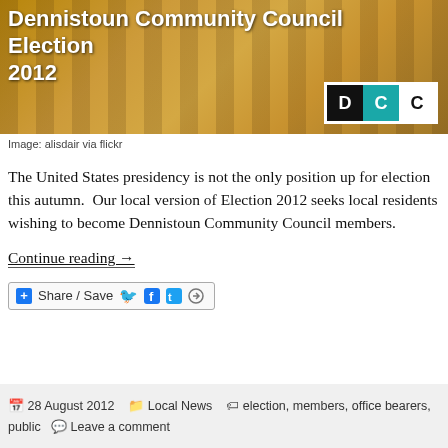[Figure (photo): Banner image for Dennistoun Community Council Election 2012, showing a sandstone tenement building in warm tones with the DCC logo (D, C, C in black, teal, and white boxes) in the bottom right corner. White bold text reads 'Dennistoun Community Council Election 2012' on the left.]
Image: alisdair via flickr
The United States presidency is not the only position up for election this autumn.  Our local version of Election 2012 seeks local residents wishing to become Dennistoun Community Council members.
Continue reading →
[Figure (other): Share / Save social media share bar with Facebook and Twitter icons]
28 August 2012   Local News   election, members, office bearers, public   Leave a comment